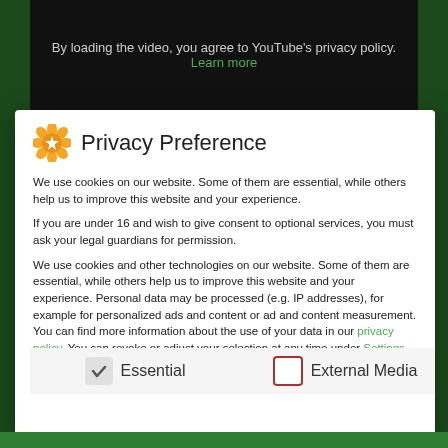By loading the video, you agree to YouTube's privacy policy.
Learn more
Privacy Preference
We use cookies on our website. Some of them are essential, while others help us to improve this website and your experience.
If you are under 16 and wish to give consent to optional services, you must ask your legal guardians for permission.
We use cookies and other technologies on our website. Some of them are essential, while others help us to improve this website and your experience. Personal data may be processed (e.g. IP addresses), for example for personalized ads and content or ad and content measurement. You can find more information about the use of your data in our privacy policy. You can revoke or adjust your selection at any time under Settings.
Essential
External Media